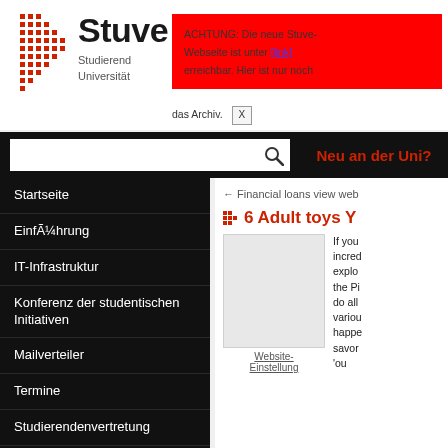[Figure (logo): Stuve logo with red dot grid pattern]
Stuve
Studierendenvertretung Universität
ACHTUNG: Die neue Stuve-Webseite ist unter [link] erreichbar. Hier ist nur noch das Archiv. X
← Financial loans view web
6 Adult toys Y
[Figure (photo): Article image placeholder]
Website-Einstellung
If you incredexplothe Pido allvariouhappesavor
Startseite
Einführung
IT-Infrastruktur
Konferenz der studentischen Initiativen
Mailverteiler
Termine
Studierendenvertretung
Referate & Arbeitskreise